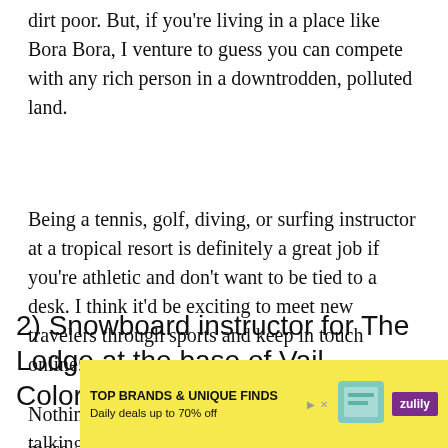dirt poor. But, if you're living in a place like Bora Bora, I venture to guess you can compete with any rich person in a downtrodden, polluted land.
Being a tennis, golf, diving, or surfing instructor at a tropical resort is definitely a great job if you're athletic and don't want to be tied to a desk. I think it'd be exciting to meet new travelers through sports and keep in touch online.
2) Snowboard instructor for The Lodge at the base of Vail, Colorado
Nothing beats the back bowls of Vail! We're talking 10-minute wide open, steep, tree-less, and mass...
[Figure (other): Advertisement banner: TOP BRANDS & UNIQUE FINDS, Daily deals up to 70% off, Zulily brand, with images of a handbag and shoes]